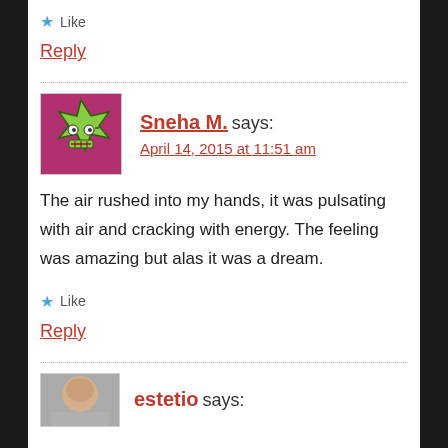Like
Reply
Sneha M. says:
April 14, 2015 at 11:51 am
The air rushed into my hands, it was pulsating with air and cracking with energy. The feeling was amazing but alas it was a dream.
Like
Reply
estetio says: